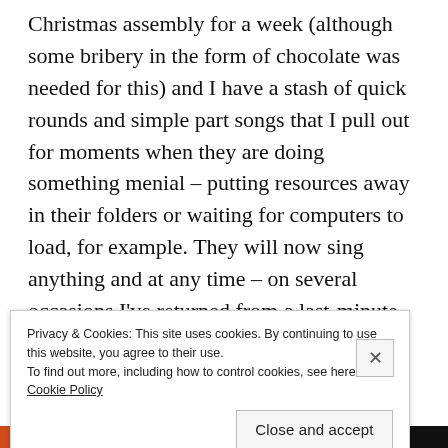Christmas assembly for a week (although some bribery in the form of chocolate was needed for this) and I have a stash of quick rounds and simple part songs that I pull out for moments when they are doing something menial – putting resources away in their folders or waiting for computers to load, for example. They will now sing anything and at any time – on several occasions I've returned from a last-minute dash to the photocopier at the start of a lesson to find them singing, sometimes in several parts, whatever happens to be on someone's mind at the time.
Privacy & Cookies: This site uses cookies. By continuing to use this website, you agree to their use.
To find out more, including how to control cookies, see here: Cookie Policy